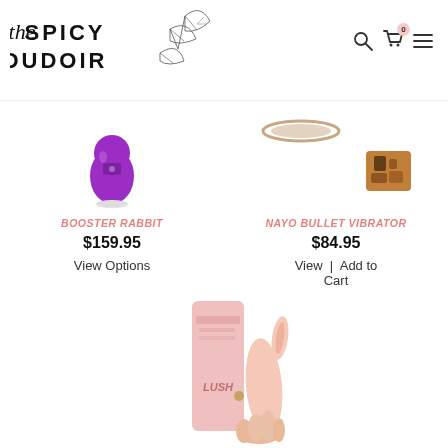[Figure (logo): The Spicy Boudoir logo with ginkgo leaf illustration and script/sans-serif text combination]
[Figure (photo): Purple Booster Rabbit vibrator product image on white background]
BOOSTER RABBIT
$159.95
View Options
[Figure (photo): Nayo Bullet Vibrator product image showing tortoiseshell accessory on white background]
NAYO BULLET VIBRATOR
$84.95
View | Add to Cart
[Figure (photo): Pink Lush rabbit vibrator product image with box, bottom portion visible]